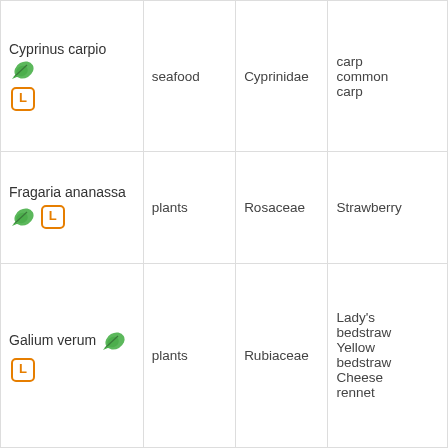| Cyprinus carpio [leaf icon] [L] | seafood | Cyprinidae | carp common carp |
| Fragaria ananassa [leaf icon] [L] | plants | Rosaceae | Strawberry |
| Galium verum [leaf icon] [L] | plants | Rubiaceae | Lady's bedstraw Yellow bedstraw Cheese rennet |